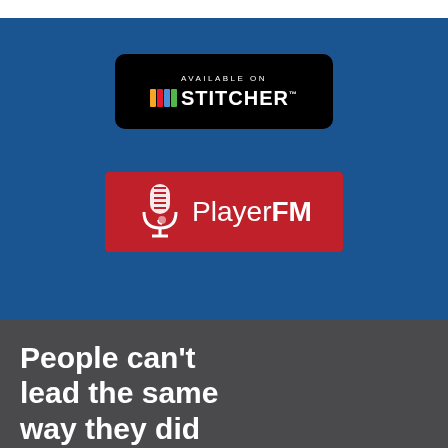[Figure (logo): Available on Stitcher badge - black rounded rectangle with colored bars and STITCHER text in white]
[Figure (logo): PlayerFM logo - red rectangle with microphone icon and Player FM text in white]
People can't lead the same way they did